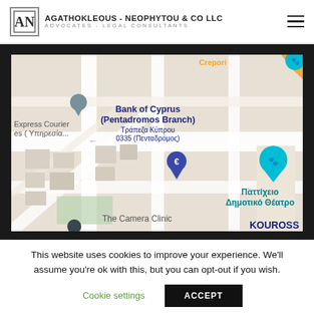AGATHOKLEOUS - NEOPHYTOU & CO LLC | ADVOCATES - LEGAL CONSULTANTS
[Figure (map): Google Maps view showing Pentadromos area in Nicosia, Cyprus. Visible landmarks: Bank of Cyprus (Pentadromos Branch) / Τράπεζα Κύπρου 0335 (Πενταδρόμος), Express Courier Services (Υπηρεσία...), Παττίχειο Δημοτικό Θέατρο, The Camera Clinic, KOUROSS. A blue map pin with Euro symbol is visible in the center.]
This website uses cookies to improve your experience. We'll assume you're ok with this, but you can opt-out if you wish.
Cookie settings    ACCEPT